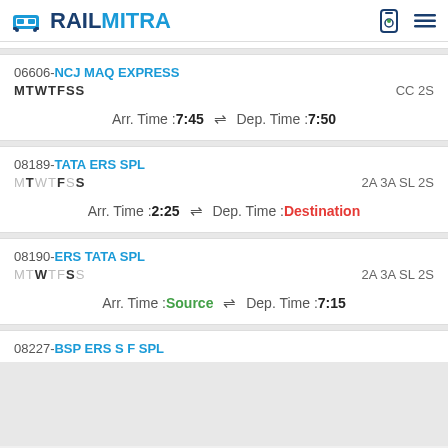RAILMITRA
06606-NCJ MAQ EXPRESS | MTWTFSS | CC 2S | Arr. Time :7:45 ⇌ Dep. Time :7:50
08189-TATA ERS SPL | MTWTFSS | 2A 3A SL 2S | Arr. Time :2:25 ⇌ Dep. Time :Destination
08190-ERS TATA SPL | MTWTFSS | 2A 3A SL 2S | Arr. Time :Source ⇌ Dep. Time :7:15
08227-BSP ERS S F SPL